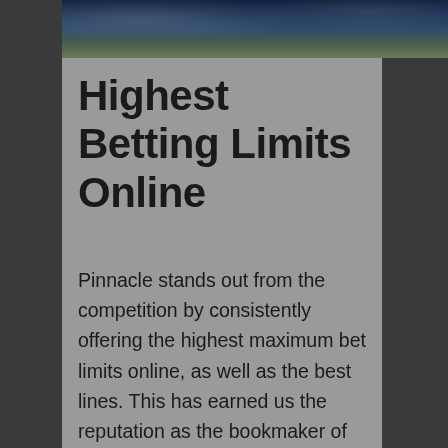[Figure (photo): Dark nighttime stadium or sports venue photo strip at the top of the page]
Highest Betting Limits Online
Pinnacle stands out from the competition by consistently offering the highest maximum bet limits online, as well as the best lines. This has earned us the reputation as the bookmaker of choice for serious bettors. Not only are their limits the highest online, bettors can build positions with successive bets to increase their stake and therefore, potential winnings. You can re-bet up to the